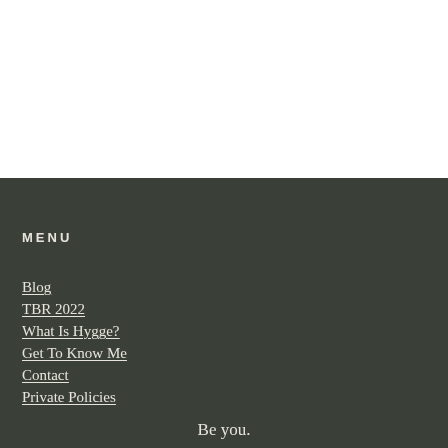MENU
Blog
TBR 2022
What Is Hygge?
Get To Know Me
Contact
Private Policies
Be you.